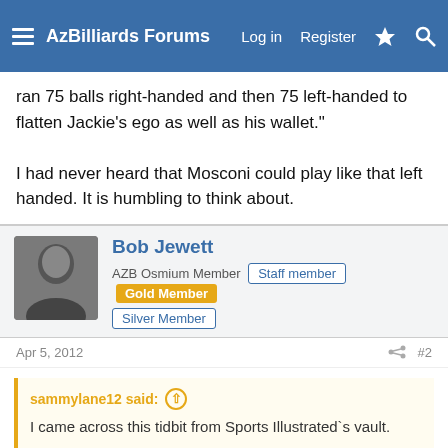AzBilliards Forums | Log in | Register
ran 75 balls right-handed and then 75 left-handed to flatten Jackie's ego as well as his wallet."
I had never heard that Mosconi could play like that left handed. It is humbling to think about.
Bob Jewett
AZB Osmium Member | Staff member | Gold Member | Silver Member
Apr 5, 2012  #2
sammylane12 said:
I came across this tidbit from Sports Illustrated`s vault.
"Mosconi says he has never been a hustler himself. Except once, he reflected last week, when the New York restaurateur Toots Shor persuaded him to pull a little con on Jackie Gleason (who was later to be a star of The Hustler). Posing as a Philadelphia dress manufacturer named Shuman, Mosconi pulled Gleason out of $100 in